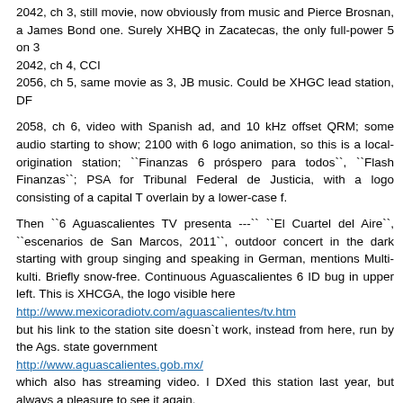2042, ch 3, still movie, now obviously from music and Pierce Brosnan, a James Bond one. Surely XHBQ in Zacatecas, the only full-power 5 on 3
2042, ch 4, CCI
2056, ch 5, same movie as 3, JB music. Could be XHGC lead station, DF
2058, ch 6, video with Spanish ad, and 10 kHz offset QRM; some audio starting to show; 2100 with 6 logo animation, so this is a local-origination station; ``Finanzas 6 próspero para todos``, ``Flash Finanzas``; PSA for Tribunal Federal de Justicia, with a logo consisting of a capital T overlain by a lower-case f.
Then ``6 Aguascalientes TV presenta ---`` ``El Cuartel del Aire``, ``escenarios de San Marcos, 2011``, outdoor concert in the dark starting with group singing and speaking in German, mentions Multi-kulti. Briefly snow-free. Continuous Aguascalientes 6 ID bug in upper left. This is XHCGA, the logo visible here
http://www.mexicoradiotv.com/aguascalientes/tv.htm
but his link to the station site doesn`t work, instead from here, run by the Ags. state government
http://www.aguascalientes.gob.mx/
which also has streaming video. I DXed this station last year, but always a pleasure to see it again.